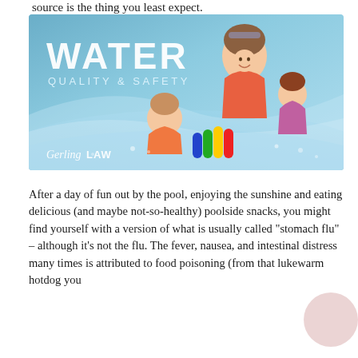source is the thing you least expect.
[Figure (photo): Water Quality & Safety promotional image showing a mother and two young children (including a baby) in a swimming pool with colorful foam noodles, branded with Gerling Law logo. Blue water background with 'WATER QUALITY & SAFETY' text overlay.]
After a day of fun out by the pool, enjoying the sunshine and eating delicious (and maybe not-so-healthy) poolside snacks, you might find yourself with a version of what is usually called “stomach flu” – although it’s not the flu. The fever, nausea, and intestinal distress many times is attributed to food poisoning (from that lukewarm hotdog you